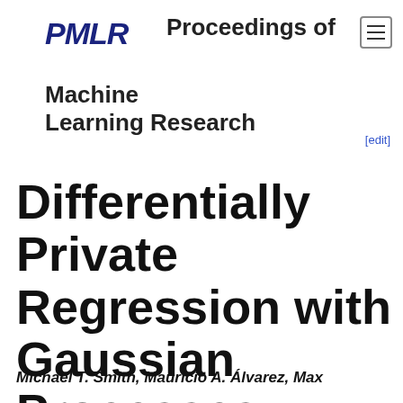PMLR Proceedings of Machine Learning Research
Differentially Private Regression with Gaussian Processes
Michael T. Smith, Mauricio A. Álvarez, Max